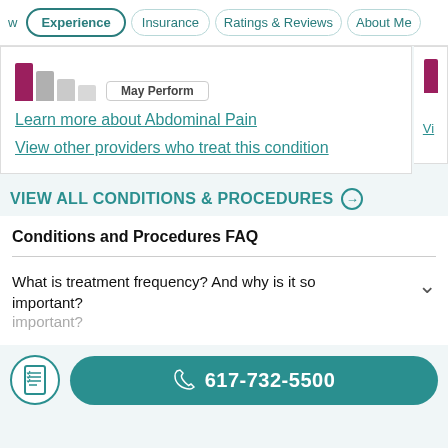w | Experience | Insurance | Ratings & Reviews | About Me
May Perform
Learn more about Abdominal Pain
View other providers who treat this condition
VIEW ALL CONDITIONS & PROCEDURES →
Conditions and Procedures FAQ
What is treatment frequency? And why is it so important?
617-732-5500